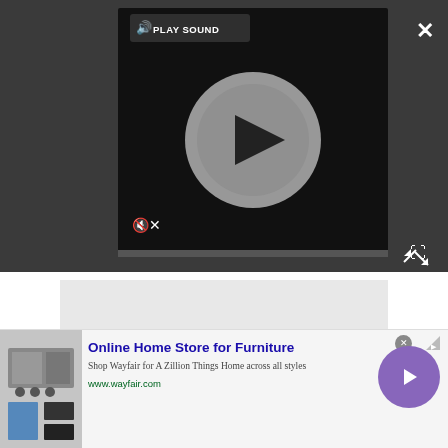[Figure (screenshot): Dark video player interface with a play button (circular play icon in center), 'PLAY SOUND' button in top-left of player, mute icon in bottom-left, and a progress bar at the bottom. Background is dark gray. Close (X) button in top-right corner, and expand arrows icon in bottom-right corner.]
[Figure (screenshot): Light gray content placeholder area below the video player]
The rechargeable battery should last you up to 24
[Figure (screenshot): Advertisement banner: Online Home Store for Furniture - Shop Wayfair for A Zillion Things Home across all styles - www.wayfair.com - with furniture image on left and arrow button on right]